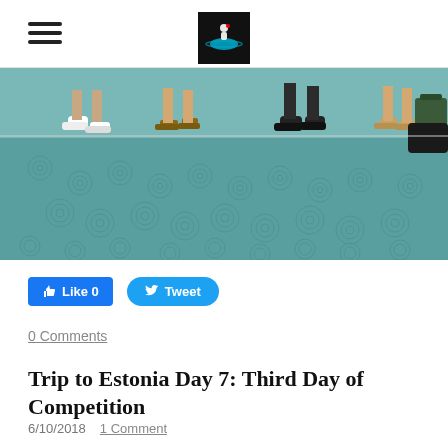[hamburger menu icon] [site logo]
[Figure (photo): Photo showing feet and lower legs of several people standing on a teal/blue patterned carpet with circular swirl designs. Airport or event venue floor.]
Like 0   Tweet
0 Comments
Trip to Estonia Day 7: Third Day of Competition
6/10/2018   1 Comment